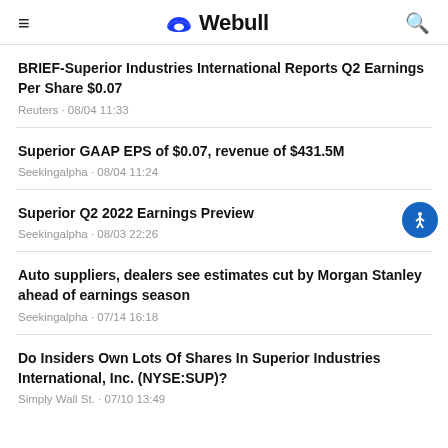Webull
BRIEF-Superior Industries International Reports Q2 Earnings Per Share $0.07
Reuters · 08/04 11:33
Superior GAAP EPS of $0.07, revenue of $431.5M
Seekingalpha · 08/04 11:24
Superior Q2 2022 Earnings Preview
Seekingalpha · 08/03 22:26
Auto suppliers, dealers see estimates cut by Morgan Stanley ahead of earnings season
Seekingalpha · 07/14 16:18
Do Insiders Own Lots Of Shares In Superior Industries International, Inc. (NYSE:SUP)?
Simply Wall St. · 07/10 13:49